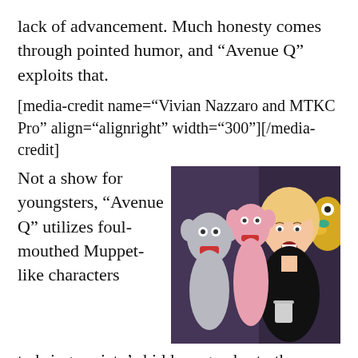lack of advancement. Much honesty comes through pointed humor, and “Avenue Q” exploits that.
[media-credit name=“Vivian Nazzaro and MTKC Pro” align=“alignright” width=“300”][/media-credit]
[Figure (photo): A woman with blonde hair holds two Muppet-like puppets, a grey one and a pink one, with a yellow bird-like puppet visible on the right side. The scene appears to be from the musical Avenue Q.]
Not a show for youngsters, “Avenue Q” utilizes foul-mouthed Muppet-like characters to bring society’s hidden agendas to the surface and expose them. But, it doesn’t stop there, full-frontal puppet sex creates a visual display of what some of the porn surfing has created. And, it’s all done with a